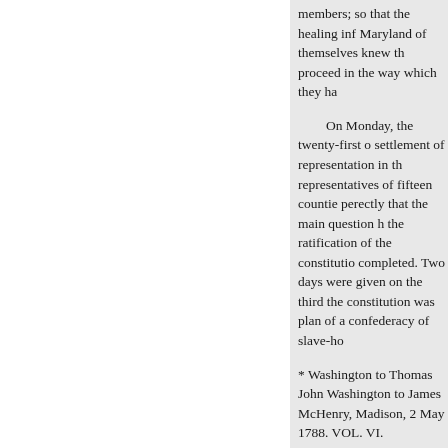members; so that the healing inf Maryland of themselves knew th proceed in the way which they ha
On Monday, the twenty-first o settlement of representation in th representatives of fifteen countie perectly that the main question h the ratification of the constitutio completed. Two days were given on the third the constitution was plan of a confederacy of slave-ho
* Washington to Thomas John Washington to James McHenry, Madison, 2 May 1788. VOL. VI.
one supporter; not one suggested malcontents could embarrass the
On the morning of the twenty- constitution began from elaborat government are deadly to the cau force a concession of amendmen